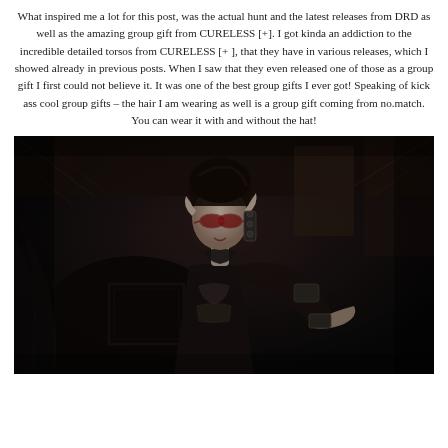What inspired me a lot for this post, was the actual hunt and the latest releases from DRD as well as the amazing group gift from CURELESS [+]. I got kinda an addiction to the incredible detailed torsos from CURELESS [+ ], that they have in various releases, which I showed already in previous posts. When I saw that they even released one of those as a group gift I first could not believe it. It was one of the best group gifts I ever got! Speaking of kick ass cool group gifts – the hair I am wearing as well is a group gift coming from no.match. You can wear it with and without the hat!
[Figure (photo): A dark fantasy scene featuring a gothic female character with pointed ears, red-tinted goggles/glasses, dark hair styled up, wearing dark armored/skeletal clothing, seated in a dark ornate chair. There are cobwebs and a picture frame visible in the background. The overall image is very dark and atmospheric.]